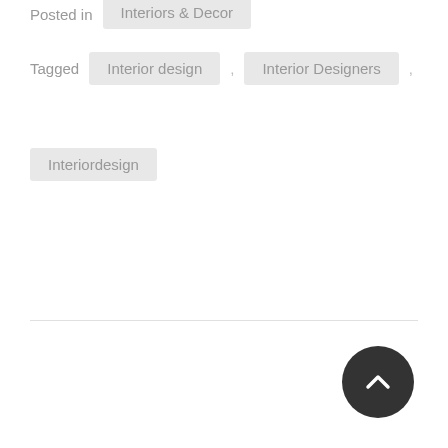Posted in  Interiors & Decor
Tagged  ,  Interior design  ,  Interior Designers  ,
Interiordesign
[Figure (other): Back to top button — dark circular button with upward chevron arrow]